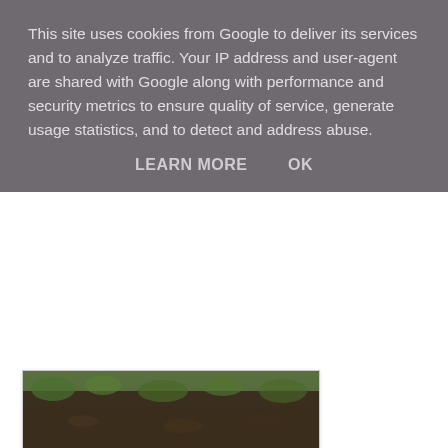This site uses cookies from Google to deliver its services and to analyze traffic. Your IP address and user-agent are shared with Google along with performance and security metrics to ensure quality of service, generate usage statistics, and to detect and address abuse.
LEARN MORE    OK
[Figure (photo): Partial view of ground with green plants and dark soil, appears to be a garden or outdoor area]
On Christmas Day my Mother-in-Law and Mum set to work preparing our homegrown brussel sprouts. Mr. M was in charge of cooking and he decided to lightly fry the sprouts with onion and bacon. I prefer this way of cooking them to the traditional 'boil 'em to death' method. They were delicious and couldn't have been fresher.
[Figure (photo): Partial interior/window scene with what appears to be a balloon or round object and outdoor view through window]